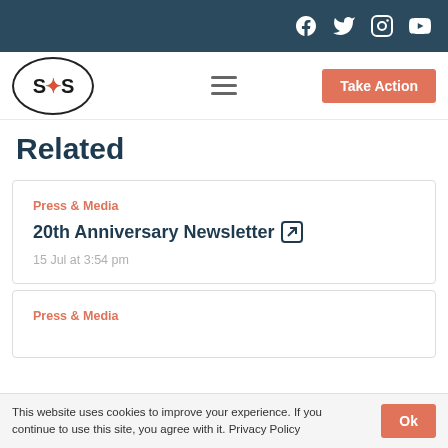SOS — social bar with Facebook, Twitter, Instagram, YouTube icons
[Figure (logo): SOS organization logo — circular badge with SOS text]
Related
Press & Media
20th Anniversary Newsletter
15 Jul at 3:54 pm
Press & Media
This website uses cookies to improve your experience. If you continue to use this site, you agree with it. Privacy Policy